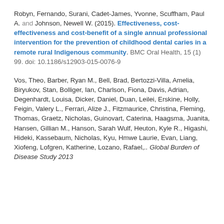Robyn, Fernando, Surani, Cadet-James, Yvonne, Scuffham, Paul A. and Johnson, Newell W. (2015). Effectiveness, cost-effectiveness and cost-benefit of a single annual professional intervention for the prevention of childhood dental caries in a remote rural Indigenous community. BMC Oral Health, 15 (1) 99. doi: 10.1186/s12903-015-0076-9
Vos, Theo, Barber, Ryan M., Bell, Brad, Bertozzi-Villa, Amelia, Biryukov, Stan, Bolliger, Ian, Charlson, Fiona, Davis, Adrian, Degenhardt, Louisa, Dicker, Daniel, Duan, Leilei, Erskine, Holly, Feigin, Valery L., Ferrari, Alize J., Fitzmaurice, Christina, Fleming, Thomas, Graetz, Nicholas, Guinovart, Caterina, Haagsma, Juanita, Hansen, Gillian M., Hanson, Sarah Wulf, Heuton, Kyle R., Higashi, Hideki, Kassebaum, Nicholas, Kyu, Hmwe Laurie, Evan, Liang, Xiofeng, Lofgren, Katherine, Lozano, Rafael,.. Global Burden of Disease Study 2013